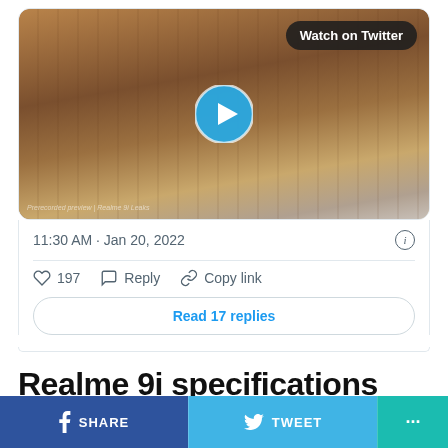[Figure (screenshot): Twitter video thumbnail showing a wooden surface with a blue play button circle in the center and a 'Watch on Twitter' button in the top right corner]
11:30 AM · Jan 20, 2022
197  Reply  Copy link
Read 17 replies
Realme 9i specifications
SHARE  TWEET  ...